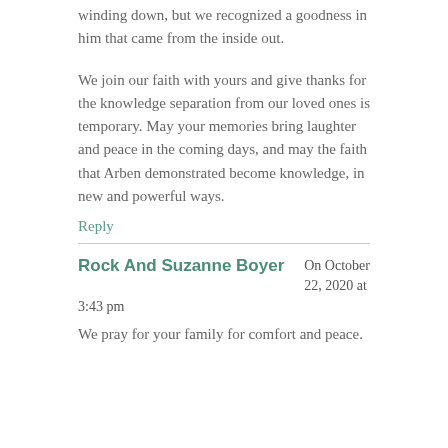winding down, but we recognized a goodness in him that came from the inside out.
We join our faith with yours and give thanks for the knowledge separation from our loved ones is temporary. May your memories bring laughter and peace in the coming days, and may the faith that Arben demonstrated become knowledge, in new and powerful ways.
Reply
Rock And Suzanne Boyer  On October 22, 2020 at 3:43 pm
We pray for your family for comfort and peace.